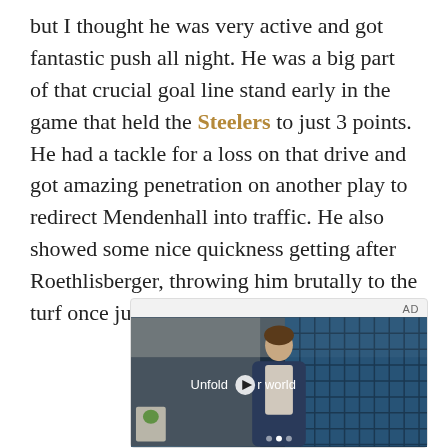but I thought he was very active and got fantastic push all night. He was a big part of that crucial goal line stand early in the game that held the Steelers to just 3 points. He had a tackle for a loss on that drive and got amazing penetration on another play to redirect Mendenhall into traffic. He also showed some nice quickness getting after Roethlisberger, throwing him brutally to the turf once just after a pass.
[Figure (other): Advertisement video player showing a young man standing in front of a blue tiled wall, with a play button overlay and the text 'Unfold your world'. AD label in top right.]